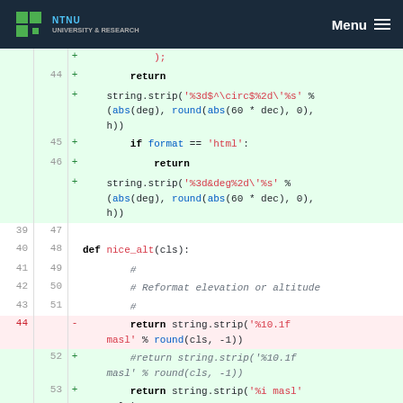NTNUUNIVERSITY & RESEARCH | Menu
[Figure (screenshot): Code diff view showing Python source code changes to nice_alt and related functions with line numbers and +/- markers on a green/red background.]